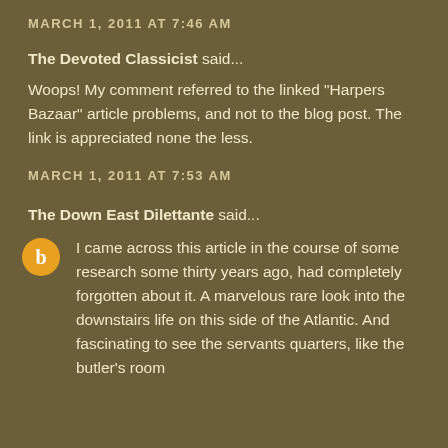MARCH 1, 2011 AT 7:46 AM
The Devoted Classicist said...
Woops! My comment referred to the linked "Harpers Bazaar" article problems, and not to the blog post. The link is appreciated none the less.
MARCH 1, 2011 AT 7:53 AM
The Down East Dilettante said...
I came across this article in the course of some research some thirty years ago, had completely forgotten about it. A marvelous rare look into the downstairs life on this side of the Atlantic. And fascinating to see the servants quarters, like the butler's room